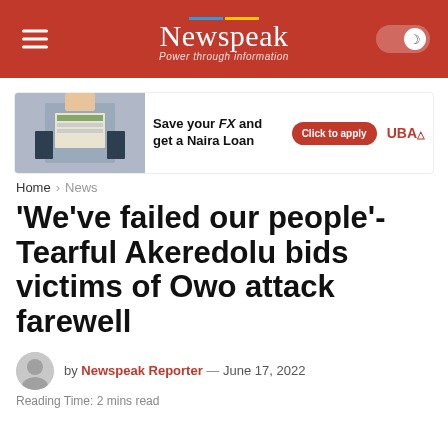Newspeak — Power through information
[Figure (infographic): UBA bank advertisement: person holding dollar bills, text 'Save your FX and get a Naira Loan', red 'Click to apply' button, UBA logo]
Home > News
'We've failed our people'- Tearful Akeredolu bids victims of Owo attack farewell
by Newspeak Reporter — June 17, 2022
Reading Time: 2 mins read